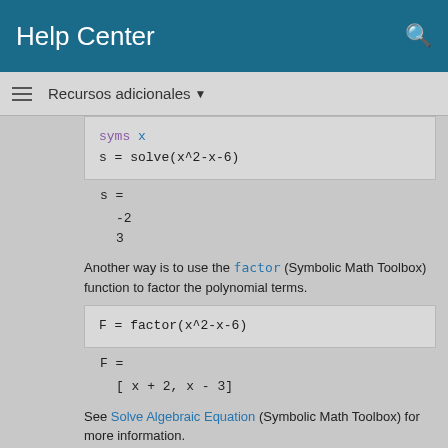Help Center
Recursos adicionales ▼
syms x
s = solve(x^2-x-6)
s =

-2
3
Another way is to use the factor (Symbolic Math Toolbox) function to factor the polynomial terms.
F = factor(x^2-x-6)
F =

[ x + 2, x - 3]
See Solve Algebraic Equation (Symbolic Math Toolbox) for more information.